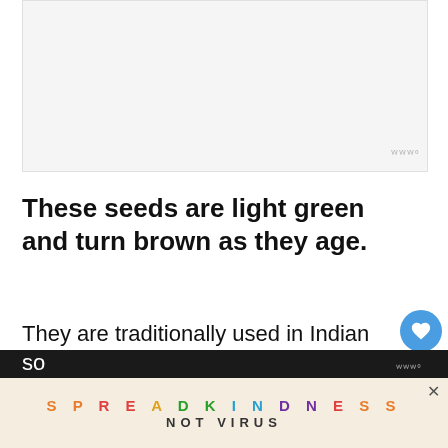[Figure (photo): Light gray/white rectangular placeholder image area]
These seeds are light green and turn brown as they age.
They are traditionally used in Indian cuisine and provide many health benefits. You can also use them to season bread, curries, so... and
[Figure (infographic): Ad banner with colorful text reading SPREAD KINDNESS NOT VIRUS with a close button]